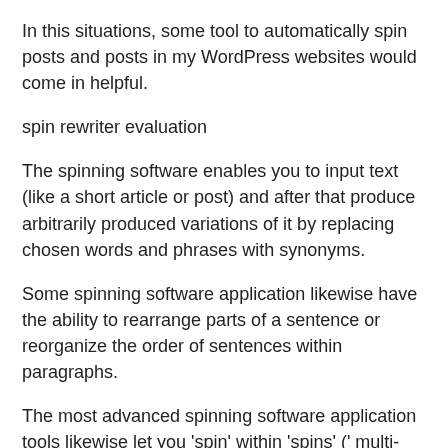In this situations, some tool to automatically spin posts and posts in my WordPress websites would come in helpful.
spin rewriter evaluation
The spinning software enables you to input text (like a short article or post) and after that produce arbitrarily produced variations of it by replacing chosen words and phrases with synonyms.
Some spinning software application likewise have the ability to rearrange parts of a sentence or reorganize the order of sentences within paragraphs.
The most advanced spinning software application tools likewise let you ‘spin’ within ‘spins’ (‘ multi-level spinning’), implying you can integrate all of these possibilities to create greatly various variations of the exact same text.